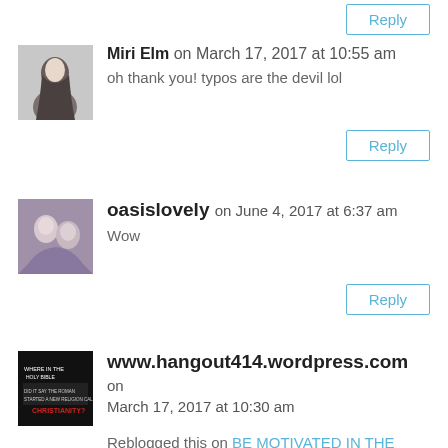[Figure (photo): Avatar photo of Miri Elm, a person with long dark hair]
Miri Elm on March 17, 2017 at 10:55 am
oh thank you! typos are the devil lol
Reply
[Figure (photo): Avatar photo of oasislovely, two people in a purple-tinted photo]
oasislovely on June 4, 2017 at 6:37 am
Wow
Reply
[Figure (photo): Avatar image for www.hangout414.wordpress.com, dark background with text]
www.hangout414.wordpress.com on March 17, 2017 at 10:30 am
Reblogged this on BE MOTIVATED IN THE WORDS OF GOD IN YOUR DAILY LIFE!ALSO LEARN ? TO FORGIVE AND FORGET SO THAT